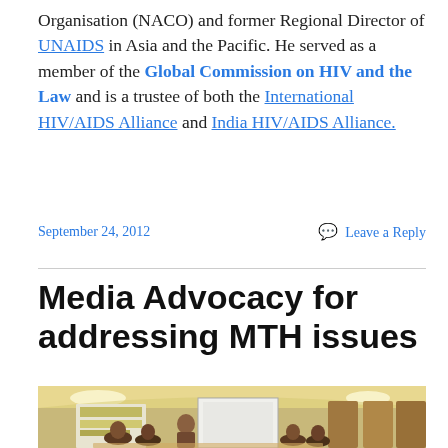Organisation (NACO) and former Regional Director of UNAIDS in Asia and the Pacific. He served as a member of the Global Commission on HIV and the Law and is a trustee of both the International HIV/AIDS Alliance and India HIV/AIDS Alliance.
September 24, 2012    Leave a Reply
Media Advocacy for addressing MTH issues
[Figure (photo): Photo of a conference/meeting room with people seated around tables, a presenter standing, a projection screen visible, and banners/signage in the background. Room has warm lighting and wood-paneled walls.]